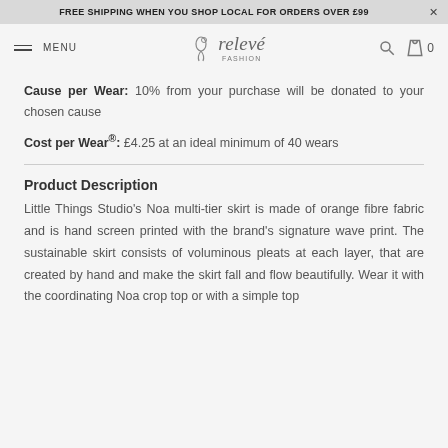FREE SHIPPING WHEN YOU SHOP LOCAL FOR ORDERS OVER £99
relevé FASHION — MENU | Search | Bag 0
Cause per Wear: 10% from your purchase will be donated to your chosen cause
Cost per Wear®: £4.25 at an ideal minimum of 40 wears
Product Description
Little Things Studio's Noa multi-tier skirt is made of orange fibre fabric and is hand screen printed with the brand's signature wave print. The sustainable skirt consists of voluminous pleats at each layer, that are created by hand and make the skirt fall and flow beautifully. Wear it with the coordinating Noa crop top or with a simple top